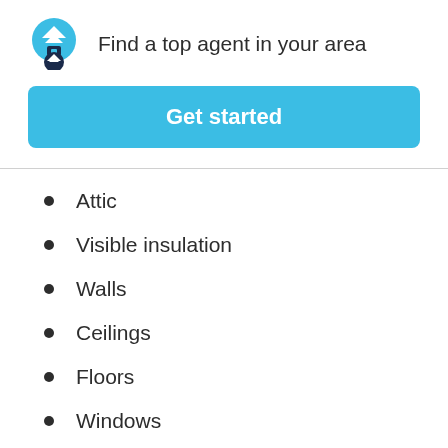Find a top agent in your area
Get started
Attic
Visible insulation
Walls
Ceilings
Floors
Windows